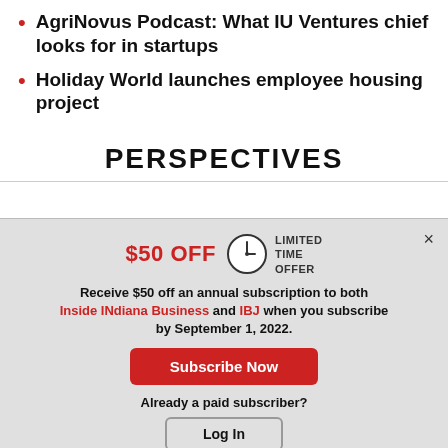AgriNovus Podcast: What IU Ventures chief looks for in startups
Holiday World launches employee housing project
PERSPECTIVES
$50 OFF LIMITED TIME OFFER
Receive $50 off an annual subscription to both Inside INdiana Business and IBJ when you subscribe by September 1, 2022.
Subscribe Now
Already a paid subscriber?
Log In